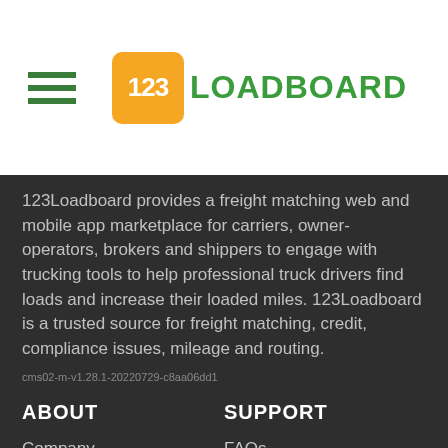[Figure (logo): 123Loadboard logo with orange rounded square containing '123' in white and 'LOADBOARD' in green text]
123Loadboard provides a freight matching web and mobile app marketplace for carriers, owner-operators, brokers and shippers to engage with trucking tools to help professional truck drivers find loads and increase their loaded miles. 123Loadboard is a trusted source for freight matching, credit, compliance issues, mileage and routing.
cms02-m-v1.28.1-20220729-c8aa06dd1
ABOUT
SUPPORT
Company
FAQs
Partners
Carrier Support
Press
Broker Support